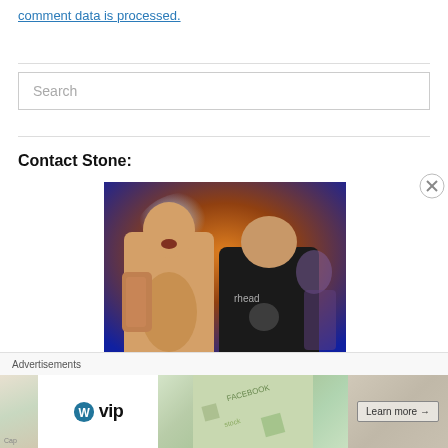comment data is processed.
Search
Contact Stone:
[Figure (photo): Two men posing together in a dimly lit venue. The man on the left has a very long beard and tattoos. The man on the right is wearing a black Motörhead t-shirt and making a hand gesture.]
Advertisements
[Figure (other): WordPress VIP advertisement banner with 'Learn more' button and map/FACEBOOK overlay imagery]